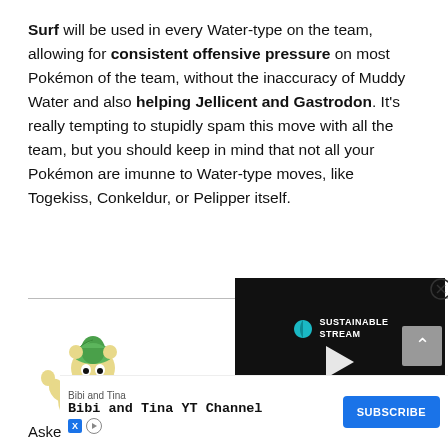Surf will be used in every Water-type on the team, allowing for consistent offensive pressure on most Pokémon of the team, without the inaccuracy of Muddy Water and also helping Jellicent and Gastrodon. It's really tempting to stupidly spam this move with all the team, but you should keep in mind that not all your Pokémon are imunne to Water-type moves, like Togekiss, Conkeldur, or Pelipper itself.
[Figure (screenshot): Video player overlay showing Sustainable Stream logo and play button with progress bar]
[Figure (illustration): Pokémon character illustration (Whimsicott/green hat creature) waving]
[Figure (infographic): Advertisement bar: Bibi and Tina YT Channel with Subscribe button]